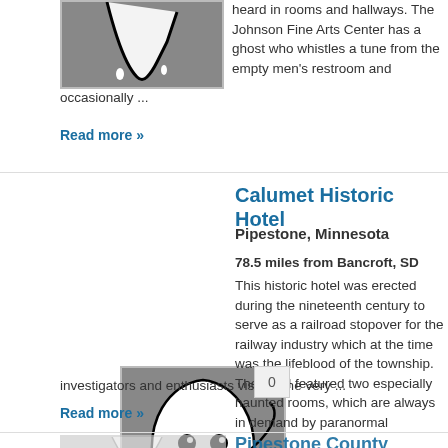[Figure (illustration): Partial ghost illustration on dark grey background, cropped at top]
heard in rooms and hallways. The Johnson Fine Arts Center has a ghost who whistles a tune from the empty men's restroom and occasionally ...
Read more »
[Figure (illustration): White cartoon ghost with smiley face on dark grey gradient background, badge showing 0]
Calumet Historic Hotel
Pipestone, Minnesota
78.5 miles from Bancroft, SD
This historic hotel was erected during the nineteenth century to serve as a railroad stopover for the railway industry which at the time was the lifeblood of the township. The hotel featured two especially haunted rooms, which are always in demand by paranormal investigators and enthusiasts visiting the very ...
Read more »
Pipestone County Museum
Pipestone, Minnesota